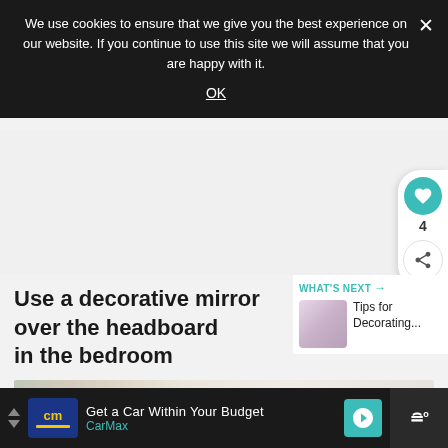We use cookies to ensure that we give you the best experience on our website. If you continue to use this site we will assume that you are happy with it.
OK
Use a decorative mirror over the headboard in the bedroom
WHAT'S NEXT → Tips for Decorating...
[Figure (photo): Thumbnail image related to decorating tips article]
[Figure (photo): Partial bottom image showing decorative mirror or bedroom scene]
Get a Car Within Your Budget CarMax